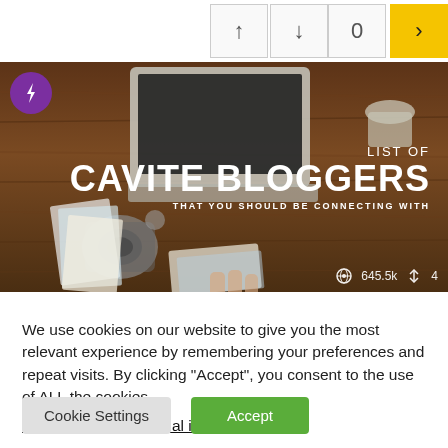[Figure (screenshot): Navigation bar with up arrow, down arrow, '0' count, and a yellow '>' button on the right]
[Figure (photo): Banner image with dark wood desk, laptop, camera, photos. Text overlay: 'LIST OF CAVITE BLOGGERS THAT YOU SHOULD BE CONNECTING WITH'. Purple lightning bolt logo top left. Stats: 645.5k views, 4 shares.]
We use cookies on our website to give you the most relevant experience by remembering your preferences and repeat visits. By clicking “Accept”, you consent to the use of ALL the cookies.
Do not sell my personal information.
Cookie Settings
Accept